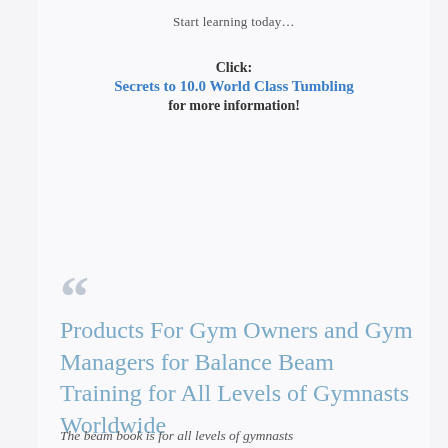Start learning today…
Click:
Secrets to 10.0 World Class Tumbling
for more information!
““
Products For Gym Owners and Gym Managers for Balance Beam Training for All Levels of Gymnasts Worldwide
The beam book is for all levels of gymnasts